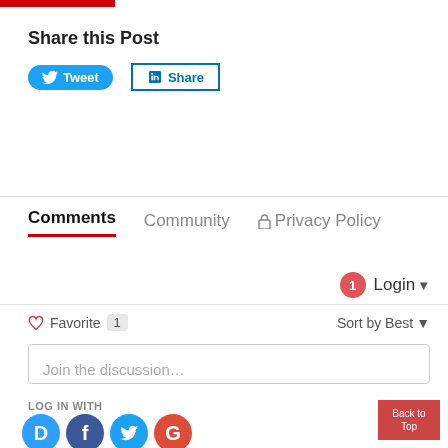[Figure (other): Red horizontal bar at top of page]
Share this Post
[Figure (other): Tweet button (Twitter/X) and LinkedIn Share button]
[Figure (other): Comments section with tabs: Comments (active), Community, Privacy Policy; Login button with notification badge; Favorite with count 1; Sort by Best; Join the discussion text input]
LOG IN WITH
[Figure (other): Social login icons: Disqus, Facebook, Twitter, Google]
Back to Top